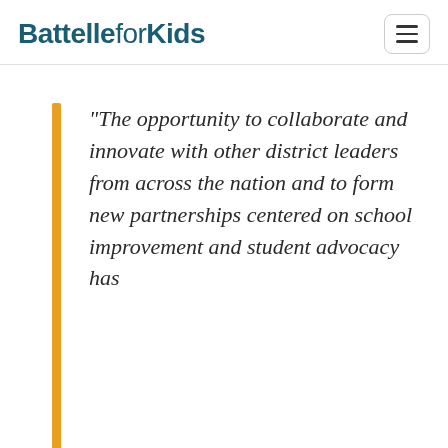Battelle for Kids
"The opportunity to collaborate and innovate with other district leaders from across the nation and to form new partnerships centered on school improvement and student advocacy has